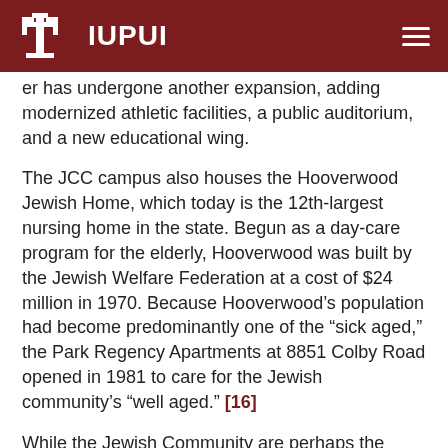IUPUI
er has undergone another expansion, adding modernized athletic facilities, a public auditorium, and a new educational wing.
The JCC campus also houses the Hooverwood Jewish Home, which today is the 12th-largest nursing home in the state. Begun as a day-care program for the elderly, Hooverwood was built by the Jewish Welfare Federation at a cost of $24 million in 1970. Because Hooverwood’s population had become predominantly one of the “sick aged,” the Park Regency Apartments at 8851 Colby Road opened in 1981 to care for the Jewish community’s “well aged.” [16]
While the Jewish Community are perhaps the most visible of religious groups in Crooked Creek, Baptists are the neighborhood’s oldest faith community. Three Baptist churches operate in the neighborhood: